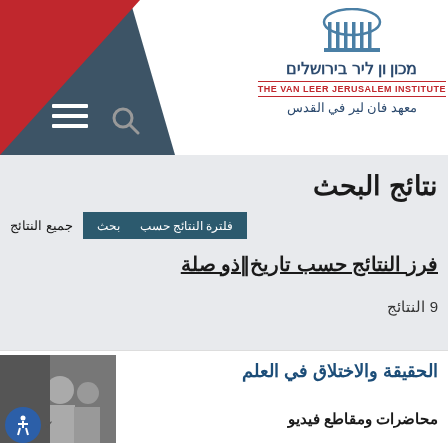[Figure (logo): Van Leer Jerusalem Institute logo with Hebrew, English, and Arabic text and architectural dome/columns icon]
نتائج البحث
جميع النتائج   بحث   فلترة النتائج حسب
فرز النتائج حسب تاريخ‖ذو صلة
9 النتائج
الحقيقة والاختلاق في العلم
محاضرات ومقاطع فيديو